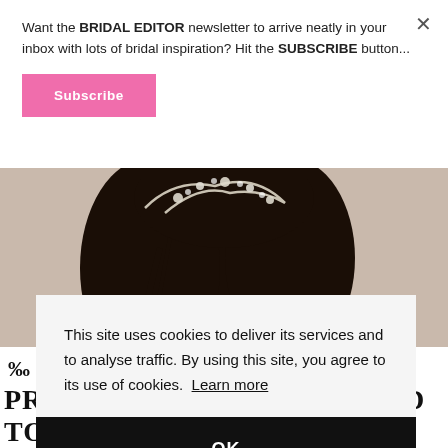Want the BRIDAL EDITOR newsletter to arrive neatly in your inbox with lots of bridal inspiration? Hit the SUBSCRIBE button...
Subscribe
[Figure (photo): Close-up photo of a dark-haired bride wearing a floral hair accessory/crown, looking down slightly, with a light neutral background]
This site uses cookies to deliver its services and to analyse traffic. By using this site, you agree to its use of cookies. Learn more
OK
IR PRODUCTS TO RECOMMEND TO A BRIDE